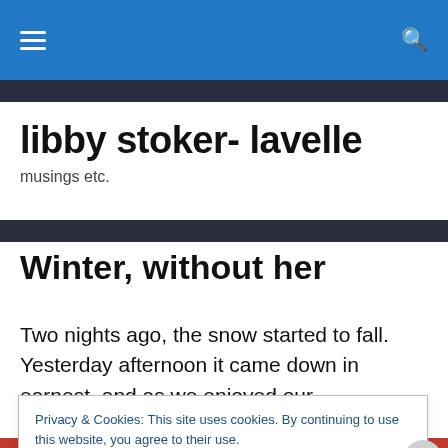libby stoker- lavelle [site header bar with hamburger menu and search icon]
libby stoker- lavelle
musings etc.
Winter, without her
Two nights ago, the snow started to fall. Yesterday afternoon it came down in earnest, and as we enjoyed our
Privacy & Cookies: This site uses cookies. By continuing to use this website, you agree to their use.
To find out more, including how to control cookies, see here: Cookie Policy
Close and accept